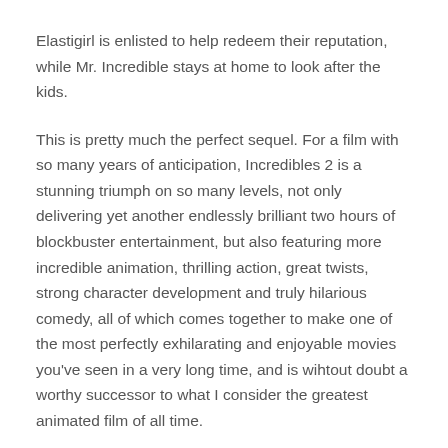Elastigirl is enlisted to help redeem their reputation, while Mr. Incredible stays at home to look after the kids.
This is pretty much the perfect sequel. For a film with so many years of anticipation, Incredibles 2 is a stunning triumph on so many levels, not only delivering yet another endlessly brilliant two hours of blockbuster entertainment, but also featuring more incredible animation, thrilling action, great twists, strong character development and truly hilarious comedy, all of which comes together to make one of the most perfectly exhilarating and enjoyable movies you've seen in a very long time, and is wihtout doubt a worthy successor to what I consider the greatest animated film of all time.
There's so much to talk about with this film, but I think it's best to start with the basics. It may surprise you to learn, but Incredibles 2 isn't the kids' movie you might expect it to be.